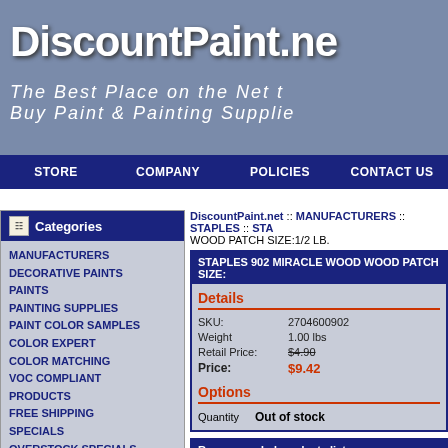DiscountPaint.net
The Best Place on the Net to Buy Paint & Painting Supplies
STORE | COMPANY | POLICIES | CONTACT US
Categories
MANUFACTURERS
DECORATIVE PAINTS
PAINTS
PAINTING SUPPLIES
PAINT COLOR SAMPLES
COLOR EXPERT
COLOR MATCHING
VOC COMPLIANT PRODUCTS
FREE SHIPPING SPECIALS
OVERSTOCK SPECIALS
Manufacturers
MODERN MASTERS
HAMMERITE
ZINSSER
MAJIC PAINTS
UGL
ADVANCE PROTECTIVE PRODUCTS
MINWAY
DiscountPaint.net :: MANUFACTURERS :: STAPLES :: STAPLES 902 MIRACLE WOOD WOOD PATCH SIZE:1/2 LB.
STAPLES 902 MIRACLE WOOD WOOD PATCH SIZE:1/2 LB.
| Field | Value |
| --- | --- |
| SKU: | 2704600902 |
| Weight | 1.00 lbs |
| Retail Price: | $4.90 |
| Price: | $9.42 |
Quantity   Out of stock
Recommended products list
WOOSTER R273 GOOD PRICE SIZE:9" NAP:3/16" PA...
ALLWAY 06510 CBS25 2-1/2" SOFT GRIP CARBIDE S...
MACCO 13072 LC-130 WHITE LIQUID SEAL SILICON SIZE:10.1 OZ. PACK:12 PCS...